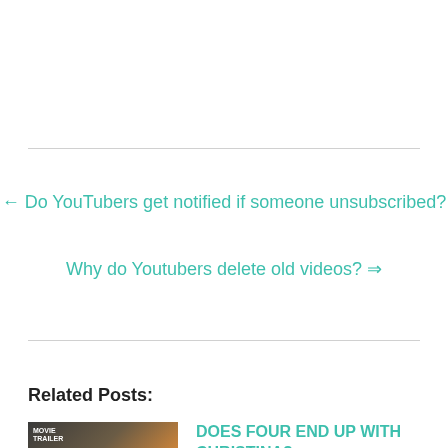← Do YouTubers get notified if someone unsubscribed?
Why do Youtubers delete old videos? ⇒
Related Posts:
[Figure (photo): Movie trailer thumbnail showing two people (a couple) against a city skyline at sunset]
DOES FOUR END UP WITH CHRISTINA?
2022-01-06   146